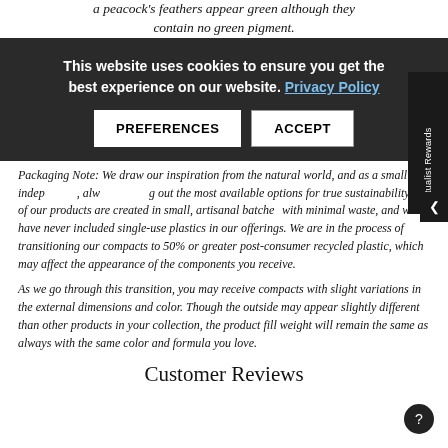a peacock's feathers appear green although they contain no green pigment.
This website uses cookies to ensure you get the best experience on our website. Privacy Policy
Packaging Note: We draw our inspiration from the natural world, and as a small independent, always seeking out the most sustainable options for true sustainability. All of our products are created in small, artisanal batches with minimal waste, and we have never included single-use plastics in our offerings. We are in the process of transitioning our compacts to 50% or greater post-consumer recycled plastic, which may affect the appearance of the components you receive.
As we go through this transition, you may receive compacts with slight variations in the external dimensions and color. Though the outside may appear slightly different than other products in your collection, the product fill weight will remain the same as always with the same color and formula you love.
Customer Reviews